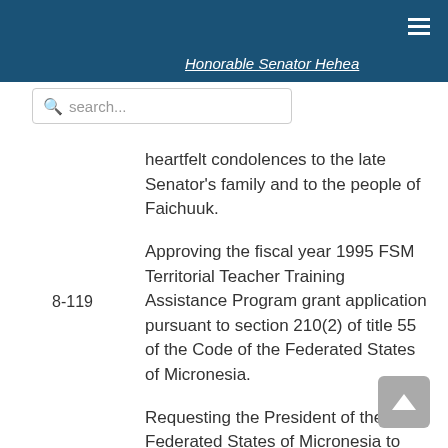Honorable Senator Hehea
heartfelt condolences to the late Senator's family and to the people of Faichuuk.
Approving the fiscal year 1995 FSM Territorial Teacher Training Assistance Program grant application pursuant to section 210(2) of title 55 of the Code of the Federated States of Micronesia.
Requesting the President of the Federated States of Micronesia to advise the office of the Resident Representative of the United Nations Development Programmed (UNDP) for the